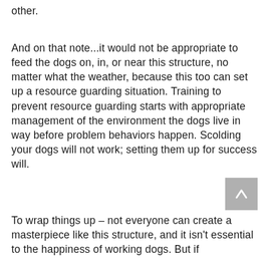other.
And on that note...it would not be appropriate to feed the dogs on, in, or near this structure, no matter what the weather, because this too can set up a resource guarding situation. Training to prevent resource guarding starts with appropriate management of the environment the dogs live in way before problem behaviors happen. Scolding your dogs will not work; setting them up for success will.
To wrap things up – not everyone can create a masterpiece like this structure, and it isn't essential to the happiness of working dogs. But if